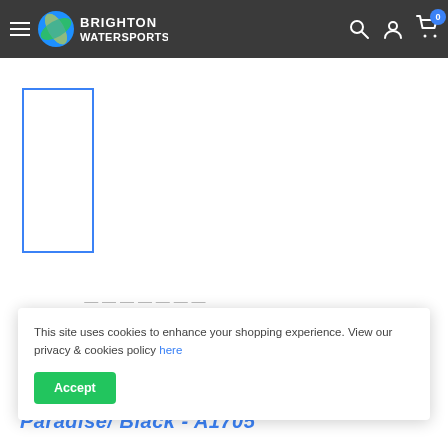Brighton Watersports — navigation bar with hamburger menu, logo, search, account, and cart (0 items)
[Figure (other): Blue-bordered rectangular thumbnail placeholder with white interior]
This site uses cookies to enhance your shopping experience. View our privacy & cookies policy here
Accept
Paradise/ Black - A1705